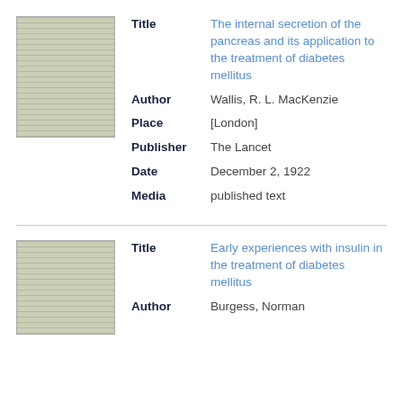[Figure (photo): Thumbnail image of a printed document page, showing dense text columns on aged paper.]
| Field | Value |
| --- | --- |
| Title | The internal secretion of the pancreas and its application to the treatment of diabetes mellitus |
| Author | Wallis, R. L. MacKenzie |
| Place | [London] |
| Publisher | The Lancet |
| Date | December 2, 1922 |
| Media | published text |
[Figure (photo): Thumbnail image of a second printed document page showing dense text columns.]
| Field | Value |
| --- | --- |
| Title | Early experiences with insulin in the treatment of diabetes mellitus |
| Author | Burgess, Norman |